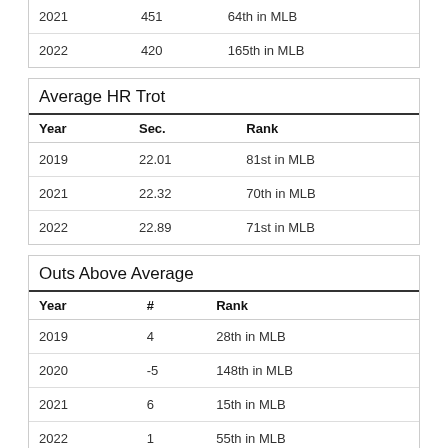| 2021 | 451 | 64th in MLB |
| 2022 | 420 | 165th in MLB |
Average HR Trot
| Year | Sec. | Rank |
| --- | --- | --- |
| 2019 | 22.01 | 81st in MLB |
| 2021 | 22.32 | 70th in MLB |
| 2022 | 22.89 | 71st in MLB |
Outs Above Average
| Year | # | Rank |
| --- | --- | --- |
| 2019 | 4 | 28th in MLB |
| 2020 | -5 | 148th in MLB |
| 2021 | 6 | 15th in MLB |
| 2022 | 1 | 55th in MLB |